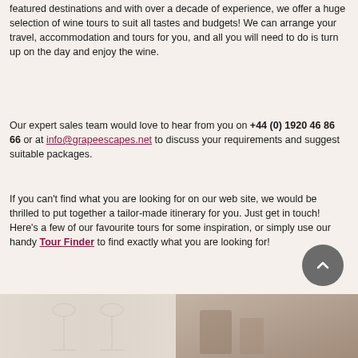featured destinations and with over a decade of experience, we offer a huge selection of wine tours to suit all tastes and budgets! We can arrange your travel, accommodation and tours for you, and all you will need to do is turn up on the day and enjoy the wine.
Our expert sales team would love to hear from you on +44 (0) 1920 46 86 66 or at info@grapeescapes.net to discuss your requirements and suggest suitable packages.
If you can't find what you are looking for on our web site, we would be thrilled to put together a tailor-made itinerary for you. Just get in touch! Here's a few of our favourite tours for some inspiration, or simply use our handy Tour Finder to find exactly what you are looking for!
[Figure (photo): Two images at the bottom: left shows blurred wine glasses, right shows a dining/wine setting. A circular scroll-to-top button overlaps the right image.]